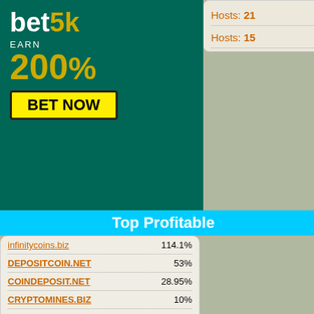[Figure (advertisement): bet5k EARN 200% BET NOW advertisement banner, dark teal background with yellow text]
Hosts: 21
Hosts: 15
Top Profitable
infinitycoins.biz  114.1%
DEPOSITCOIN.NET  53%
COINDEPOSIT.NET  28.95%
CRYPTOMINES.BIZ  10%
HOURBEST.BIZ  4%
TRUSTCRYPTOINVEST.BIZ
URANUS-MINING.COM  0%
DepositRich.com  0%
BITCRYPTODEPOSIT.COM
SUPERBIT.BIZ  0%
[Figure (advertisement): bet5k advertisement on right side, dark green background with coin graphic and number 50]
[Figure (advertisement): BIT4U advertisement with B4U logo, USD text, Min/Max, Referral 5%, Withdrawal info, payment icons including Perfect Money, Litecoin, Bitcoin. AHM label.]
[Figure (advertisement): PUDRO.BIZ advertisement with brown background PUDRO image, 50% HOURLY FOR 10 HOURS text, WAITING status, 0.08% to..., to 50% ho..., to 1500%, days 125, after 7...]